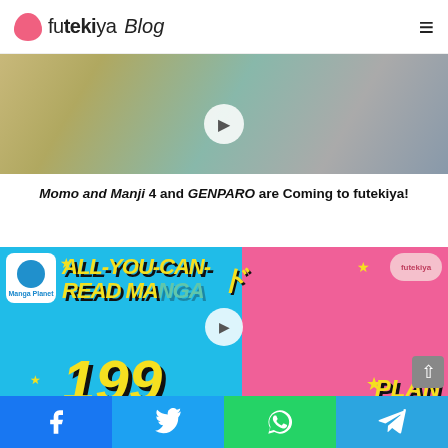futekiya Blog
[Figure (illustration): Manga artwork banner showing Momo and Manji characters with a play button overlay]
Momo and Manji 4 and GENPARO are Coming to futekiya!
[Figure (illustration): All-You-Can-Read Manga 199 Plan promotional banner with blue and pink background, yellow lettering, Manga Planet and futekiya logos, and a play button overlay]
The 1-week All-You-Can-Read Manga
Facebook | Twitter | WhatsApp | Telegram share buttons